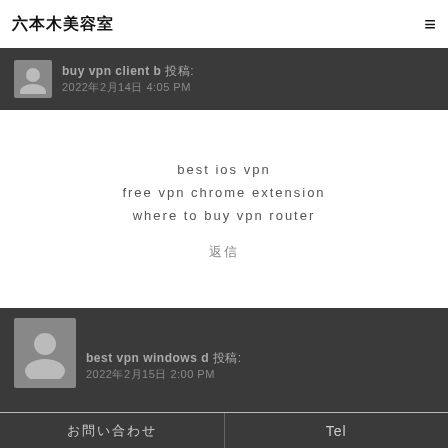六本木美容室
buy vpn client b 投稿: 2022年2月14日 4:05 PM
best ios vpn
free vpn chrome extension
where to buy vpn router
返信
best vpn windows d 投稿: 2022年2月15日 2:00 PM
お問い合わせ　　Tel